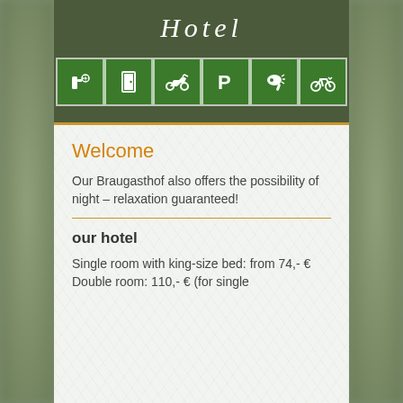Hotel
[Figure (infographic): Six green icon boxes in a row: toiletries/spa, room/door, motorbike, parking P, hair dryer, bicycle]
Welcome
Our Braugasthof also offers the possibility of night – relaxation guaranteed!
our hotel
Single room with king-size bed: from 74,- €
Double room: 110,- € (for single